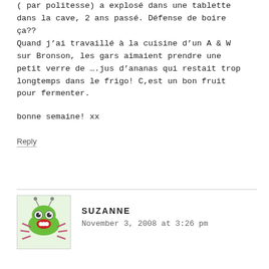( par politesse) a explosé dans une tablette dans la cave, 2 ans passé. Défense de boire ça??
Quand j'ai travaillé à la cuisine d'un A & W sur Bronson, les gars aimaient prendre une petit verre de ….jus d'ananas qui restait trop longtemps dans le frigo! C,est un bon fruit pour fermenter.

bonne semaine! xx
Reply
SUZANNE
November 3, 2008 at 3:26 pm
[Figure (illustration): Cartoon avatar of a green alien/bug creature with antennae, big eyes, and pink/red legs on a light green background]